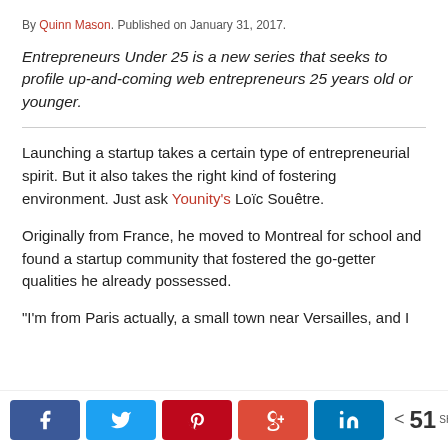By Quinn Mason. Published on January 31, 2017.
Entrepreneurs Under 25 is a new series that seeks to profile up-and-coming web entrepreneurs 25 years old or younger.
Launching a startup takes a certain type of entrepreneurial spirit. But it also takes the right kind of fostering environment. Just ask Younity's Loïc Souêtre.
Originally from France, he moved to Montreal for school and found a startup community that fostered the go-getter qualities he already possessed.
"I'm from Paris actually, a small town near Versailles, and I